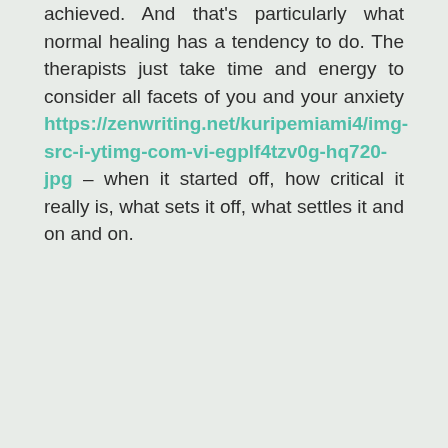achieved. And that's particularly what normal healing has a tendency to do. The therapists just take time and energy to consider all facets of you and your anxiety https://zenwriting.net/kuripemiami4/img-src-i-ytimg-com-vi-egplf4tzv0g-hq720-jpg – when it started off, how critical it really is, what sets it off, what settles it and on and on.